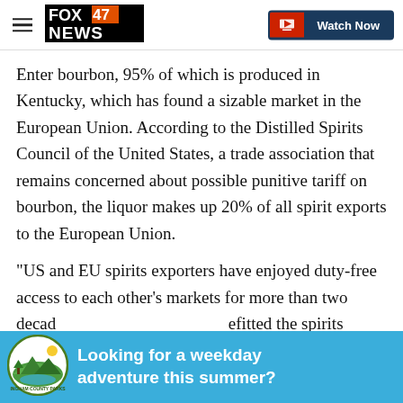FOX 47 NEWS | Watch Now
Enter bourbon, 95% of which is produced in Kentucky, which has found a sizable market in the European Union. According to the Distilled Spirits Council of the United States, a trade association that remains concerned about possible punitive tariff on bourbon, the liquor makes up 20% of all spirit exports to the European Union.
"US and EU spirits exporters have enjoyed duty-free access to each other's markets for more than two decades, which has greatly benefitted the spirits producers on both sides," said the Distilled Spirits
[Figure (logo): Blue banner with circular green county park logo and text: Looking for a weekday adventure this summer?]